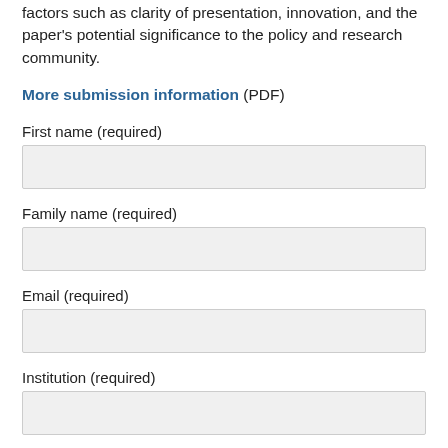factors such as clarity of presentation, innovation, and the paper's potential significance to the policy and research community.
More submission information (PDF)
First name (required)
Family name (required)
Email (required)
Institution (required)
Country (required)